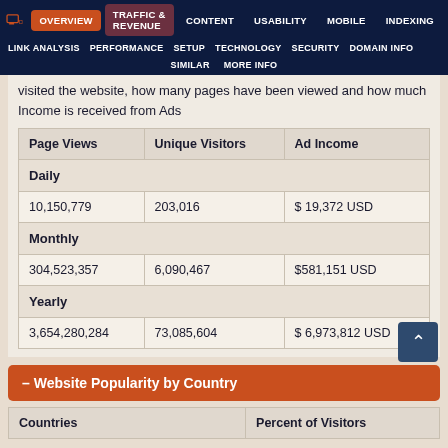OVERVIEW | TRAFFIC & REVENUE | CONTENT | USABILITY | MOBILE | INDEXING | LINK ANALYSIS | PERFORMANCE | SETUP | TECHNOLOGY | SECURITY | DOMAIN INFO | SIMILAR | MORE INFO
visited the website, how many pages have been viewed and how much Income is received from Ads
| Page Views | Unique Visitors | Ad Income |
| --- | --- | --- |
| Daily |  |  |
| 10,150,779 | 203,016 | $ 19,372 USD |
| Monthly |  |  |
| 304,523,357 | 6,090,467 | $581,151 USD |
| Yearly |  |  |
| 3,654,280,284 | 73,085,604 | $ 6,973,812 USD |
– Website Popularity by Country
| Countries | Percent of Visitors |
| --- | --- |